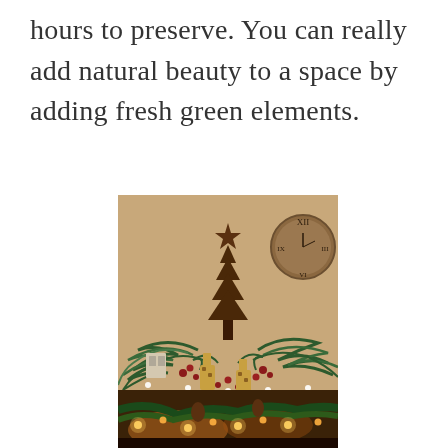hours to preserve. You can really add natural beauty to a space by adding fresh green elements.
[Figure (photo): A wooden Christmas tree decoration topped with a star, surrounded by fresh green fern branches with fairy lights and decorative animal figurines, arranged on top of a dark wooden cabinet. A round clock is visible in the upper right background.]
[Figure (photo): Bottom portion of a second photo showing Christmas greenery with fairy lights and pine cones in warm lighting.]